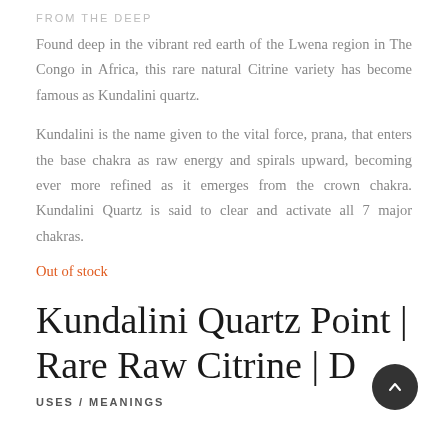FROM THE DEEP
Found deep in the vibrant red earth of the Lwena region in The Congo in Africa, this rare natural Citrine variety has become famous as Kundalini quartz.
Kundalini is the name given to the vital force, prana, that enters the base chakra as raw energy and spirals upward, becoming ever more refined as it emerges from the crown chakra. Kundalini Quartz is said to clear and activate all 7 major chakras.
Out of stock
Kundalini Quartz Point | Rare Raw Citrine | D
USES / MEANINGS